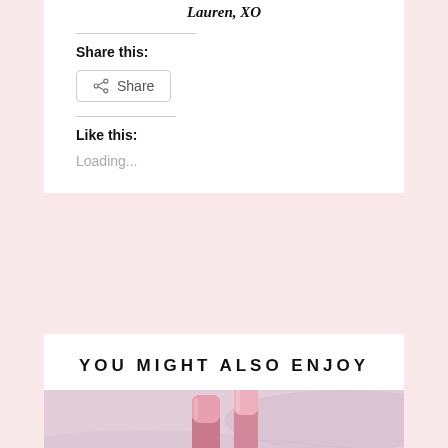Lauren, XO
Share this:
[Figure (other): Share button with share icon]
Like this:
Loading...
YOU MIGHT ALSO ENJOY
[Figure (photo): Photo of rose gold cosmetic tubes on a marble surface]